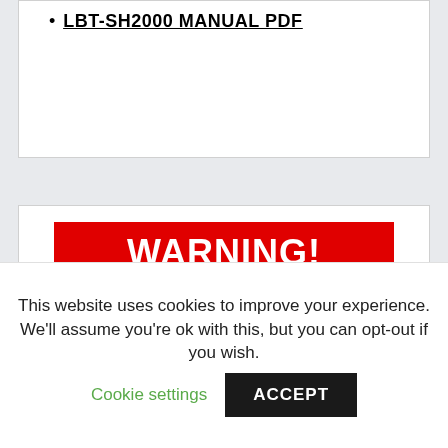LBT-SH2000 MANUAL PDF
[Figure (infographic): Warning banner with red background showing 'WARNING!' in white bold text, below which is a white box with 'Downloading files' in large black text, bordered in red on left and right sides.]
This website uses cookies to improve your experience. We'll assume you're ok with this, but you can opt-out if you wish.
Cookie settings
ACCEPT